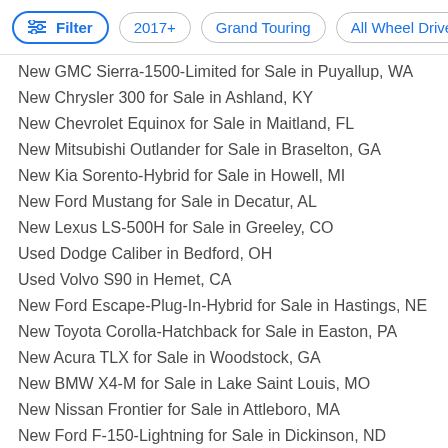Filter | 2017+ | Grand Touring | All Wheel Drive
New GMC Sierra-1500-Limited for Sale in Puyallup, WA
New Chrysler 300 for Sale in Ashland, KY
New Chevrolet Equinox for Sale in Maitland, FL
New Mitsubishi Outlander for Sale in Braselton, GA
New Kia Sorento-Hybrid for Sale in Howell, MI
New Ford Mustang for Sale in Decatur, AL
New Lexus LS-500H for Sale in Greeley, CO
Used Dodge Caliber in Bedford, OH
Used Volvo S90 in Hemet, CA
New Ford Escape-Plug-In-Hybrid for Sale in Hastings, NE
New Toyota Corolla-Hatchback for Sale in Easton, PA
New Acura TLX for Sale in Woodstock, GA
New BMW X4-M for Sale in Lake Saint Louis, MO
New Nissan Frontier for Sale in Attleboro, MA
New Ford F-150-Lightning for Sale in Dickinson, ND